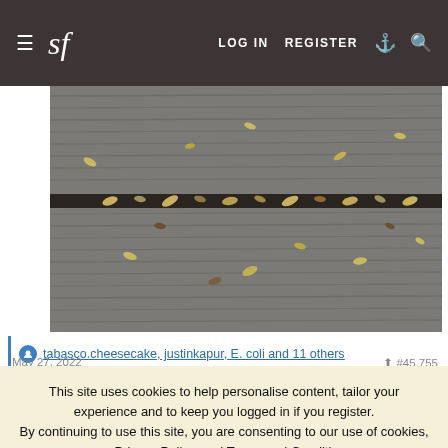sf | LOG IN  REGISTER
[Figure (photo): Close-up photo of a wooden surface or deck with small insects/bugs (stink bugs) scattered along a gap between boards, some yellow-green colored]
tabasco.cheesecake, justinkapur, E. coli and 11 others
This site uses cookies to help personalise content, tailor your experience and to keep you logged in if you register.
By continuing to use this site, you are consenting to our use of cookies, our Privacy Policy, and Terms and Conditions.
✓ ACCEPT   LEARN MORE...
May 27, 2022
sononchalant said: ↑
Viberg has poo-pooed my resole effort on the derbies for now,